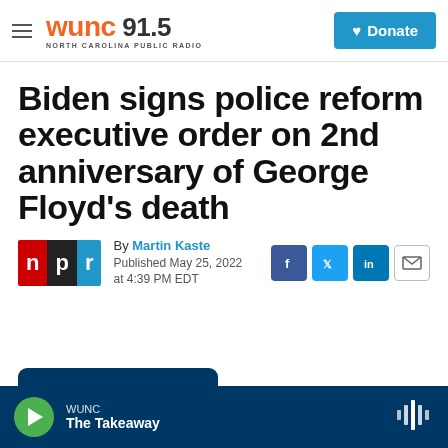WUNC 91.5 NORTH CAROLINA PUBLIC RADIO | Donate
Biden signs police reform executive order on 2nd anniversary of George Floyd's death
By Martin Kaste
Published May 25, 2022 at 4:39 PM EDT
WUNC The Takeaway